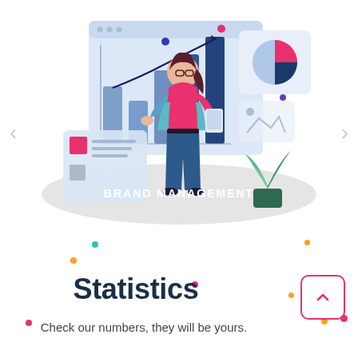[Figure (illustration): Marketing/brand management illustration: a woman standing in front of a browser window showing a bar chart with a curved trend line, a pie chart in top right, a document panel bottom left, and a plant. Text 'BRAND MANAGEMENT' overlaid on a pill-shaped grey banner at the bottom of the illustration. Navigation arrows on left and right sides.]
Statistics
Check our numbers, they will be yours.